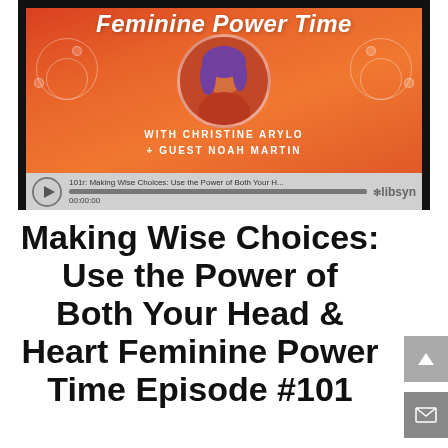[Figure (illustration): Podcast artwork for Feminine Power Time featuring an orange-red gradient background with circular portrait of a woman, decorative mandala-style dots, and text reading 'Feminine Power Time WITH CHRISTINE ARYLO + GUEST NOAH MARTIN'. Below the artwork is an audio player bar with play button, track title '101r: Making Wise Choices: Use the Power of Both Your H...', progress bar, timestamp 00:00:00, and Libsyn logo.]
Making Wise Choices: Use the Power of Both Your Head & Heart Feminine Power Time Episode #101